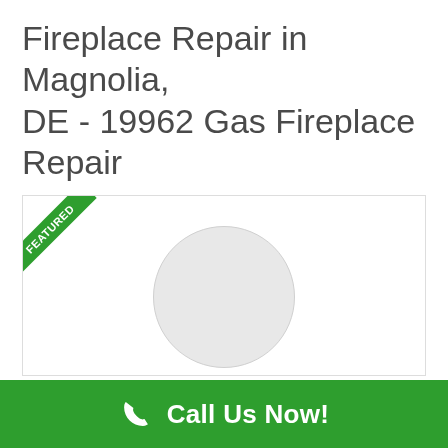Fireplace Repair in Magnolia, DE - 19962 Gas Fireplace Repair
[Figure (infographic): A featured listing card for Magnolia Fireplace with a circular placeholder logo, 'FEATURED' ribbon in the top-left corner, business name 'Magnolia Fireplace', and description text 'Fireplace repairs in Magnolia DE. Tuck points,']
Magnolia Fireplace
Fireplace repairs in Magnolia DE. Tuck points,
Call Us Now!